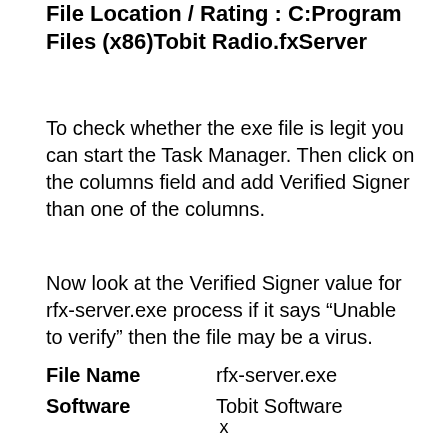File Location / Rating : C:Program Files (x86)Tobit Radio.fxServer
To check whether the exe file is legit you can start the Task Manager. Then click on the columns field and add Verified Signer than one of the columns.
Now look at the Verified Signer value for rfx-server.exe process if it says “Unable to verify” then the file may be a virus.
| File Name | rfx-server.exe |
| Software | Tobit Software |
x